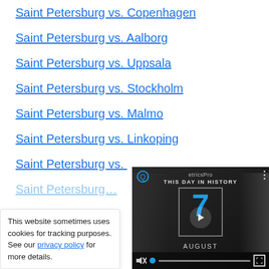Saint Petersburg vs. Copenhagen
Saint Petersburg vs. Aalborg
Saint Petersburg vs. Uppsala
Saint Petersburg vs. Stockholm
Saint Petersburg vs. Malmo
Saint Petersburg vs. Linkoping
Saint Petersburg vs. [partially visible]
Saint Petersburg [partially visible, faded]
This website sometimes uses cookies for tracking purposes. See our privacy policy for more details.
[Figure (screenshot): Video player overlay showing 'This Day in History' with the number 7 and AUGUST label, blue play button, mute and progress controls]